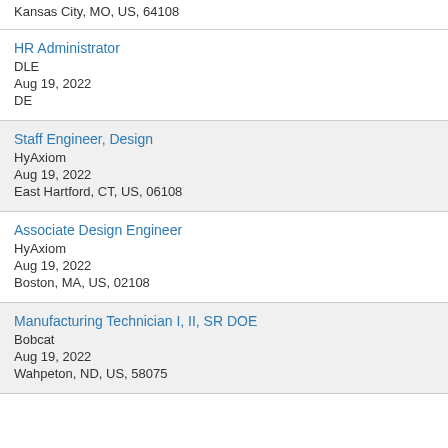Kansas City, MO, US, 64108
HR Administrator
DLE
Aug 19, 2022
DE
Staff Engineer, Design
HyAxiom
Aug 19, 2022
East Hartford, CT, US, 06108
Associate Design Engineer
HyAxiom
Aug 19, 2022
Boston, MA, US, 02108
Manufacturing Technician I, II, SR DOE
Bobcat
Aug 19, 2022
Wahpeton, ND, US, 58075